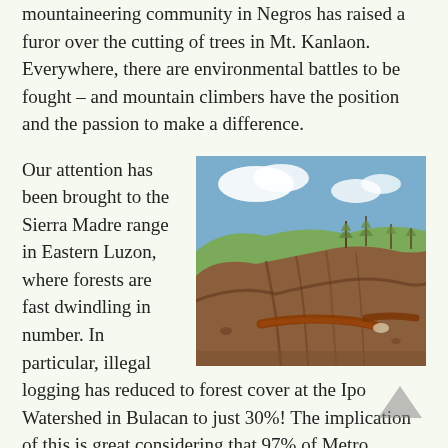mountaineering community in Negros has raised a furor over the cutting of trees in Mt. Kanlaon. Everywhere, there are environmental battles to be fought – and mountain climbers have the position and the passion to make a difference.
Our attention has been brought to the Sierra Madre range in Eastern Luzon, where forests are fast dwindling in number. In particular, illegal logging has reduced to forest cover at the Ipo Watershed in Bulacan to just 30%! The implication of this is great considering that 97% of Metro Manila's water supply is sourced from this watershed chain (Angat->Ipo->La Mesa). Also, the Sierra Madre is the habitat of many endangered species. What will happen to these animals and plants? For the sake of earning money
[Figure (photo): A deforested hillside showing bare eroded slopes with fallen logs and a few remaining sparse trees against a cloudy sky.]